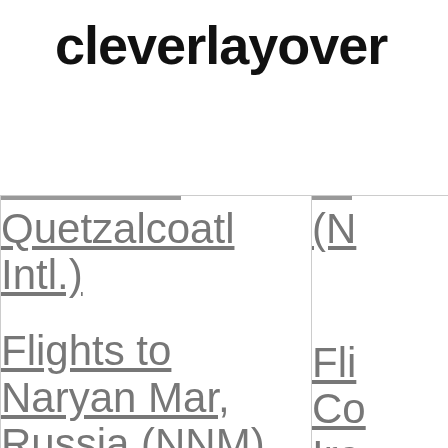cleverlayover
| Quetzalcoatl Intl.) | (N... |
| Flights to Naryan Mar, Russia (NNM) | Fli... Co... Ire... |